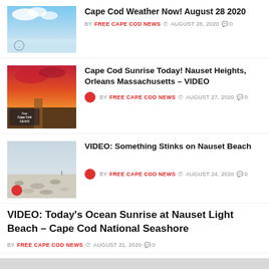Cape Cod Weather Now! August 28 2020
BY FREE CAPE COD NEWS  AUGUST 28, 2020  0
Cape Cod Sunrise Today! Nauset Heights, Orleans Massachusetts – VIDEO
BY FREE CAPE COD NEWS  AUGUST 27, 2020  0
VIDEO: Something Stinks on Nauset Beach
BY FREE CAPE COD NEWS  AUGUST 24, 2020  0
VIDEO: Today's Ocean Sunrise at Nauset Light Beach – Cape Cod National Seashore
BY FREE CAPE COD NEWS  AUGUST 21, 2020  0
Wicked Sharks – Great Whites are Getting Too Close For Comfort off the Shores of Cape Cod
BY FREE CAPE COD NEWS  AUGUST 15, 2020  0